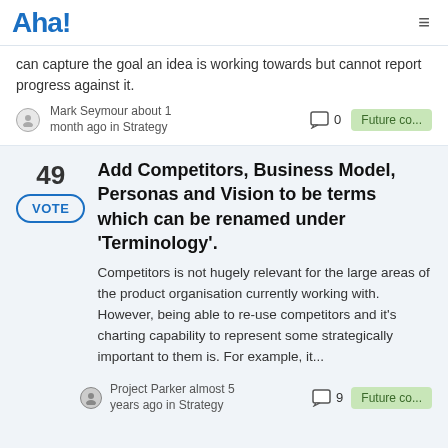Aha!
can capture the goal an idea is working towards but cannot report progress against it.
Mark Seymour about 1 month ago in Strategy  □ 0  Future co...
49
VOTE
Add Competitors, Business Model, Personas and Vision to be terms which can be renamed under 'Terminology'.
Competitors is not hugely relevant for the large areas of the product organisation currently working with. However, being able to re-use competitors and it's charting capability to represent some strategically important to them is. For example, it...
Project Parker almost 5 years ago in Strategy  □ 9  Future co...